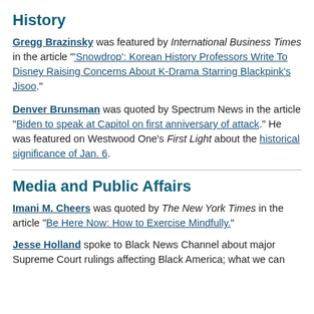History
Gregg Brazinsky was featured by International Business Times in the article "'Snowdrop': Korean History Professors Write To Disney Raising Concerns About K-Drama Starring Blackpink's Jisoo."
Denver Brunsman was quoted by Spectrum News in the article "Biden to speak at Capitol on first anniversary of attack." He was featured on Westwood One's First Light about the historical significance of Jan. 6.
Media and Public Affairs
Imani M. Cheers was quoted by The New York Times in the article "Be Here Now: How to Exercise Mindfully."
Jesse Holland spoke to Black News Channel about major Supreme Court rulings affecting Black America; what we can